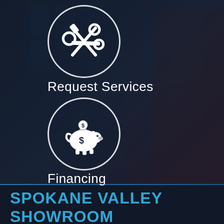[Figure (illustration): White icon of crossed wrench and screwdriver inside a white circle on a dark city background]
Request Services
[Figure (illustration): White icon of a piggy bank with a coin above it inside a white circle on a dark city background]
Financing
SPOKANE VALLEY SHOWROOM